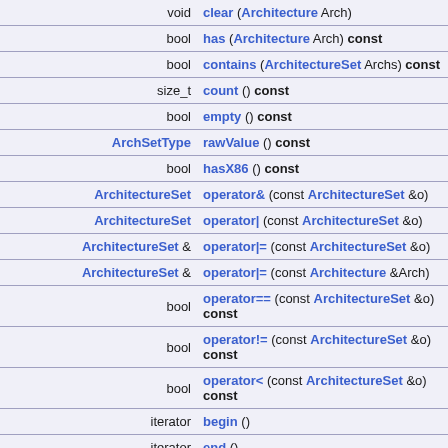| Return type | Member function |
| --- | --- |
| void | clear (Architecture Arch) |
| bool | has (Architecture Arch) const |
| bool | contains (ArchitectureSet Archs) const |
| size_t | count () const |
| bool | empty () const |
| ArchSetType | rawValue () const |
| bool | hasX86 () const |
| ArchitectureSet | operator& (const ArchitectureSet &o) |
| ArchitectureSet | operator| (const ArchitectureSet &o) |
| ArchitectureSet & | operator|= (const ArchitectureSet &o) |
| ArchitectureSet & | operator|= (const Architecture &Arch) |
| bool | operator== (const ArchitectureSet &o) const |
| bool | operator!= (const ArchitectureSet &o) const |
| bool | operator< (const ArchitectureSet &o) const |
| iterator | begin () |
| iterator | end () |
| const_iterator | begin () const |